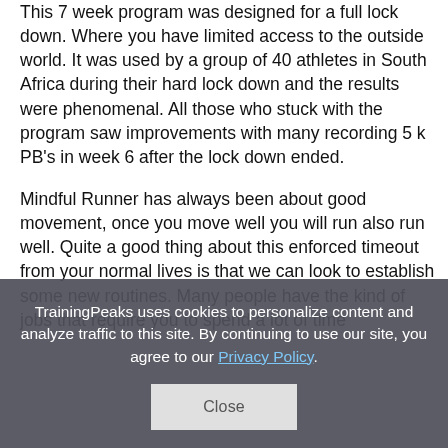This 7 week program was designed for a full lock down. Where you have limited access to the outside world. It was used by a group of 40 athletes in South Africa during their hard lock down and the results were phenomenal. All those who stuck with the program saw improvements with many recording 5 k PB's in week 6 after the lock down ended.
Mindful Runner has always been about good movement, once you move well you will run also run well. Quite a good thing about this enforced timeout from your normal lives is that we can look to establish some new routines. Many people have the kind of jobs that require you to spend a lot of time...
TrainingPeaks uses cookies to personalize content and analyze traffic to this site. By continuing to use our site, you agree to our Privacy Policy.
Close